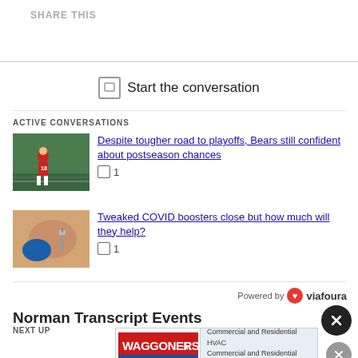SHARE THIS
ALL COMMENTS
Start the conversation
ACTIVE CONVERSATIONS
Despite tougher road to playoffs, Bears still confident about postseason chances  1
Tweaked COVID boosters close but how much will they help?  1
Powered by viafoura
Norman Transcript Events
NEXT UP
[Figure (infographic): Waggoners advertisement — Commercial and Residential HVAC, Commercial and Residential Plumbing, Commercial Electric]